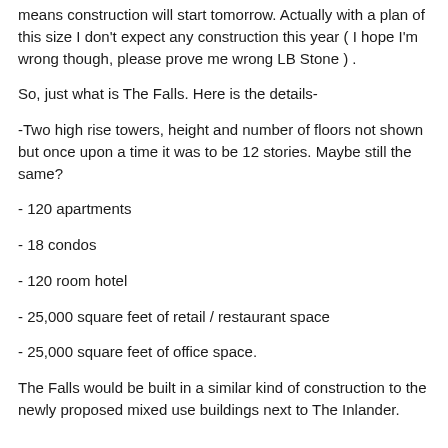means construction will start tomorrow. Actually with a plan of this size I don't expect any construction this year ( I hope I'm wrong though, please prove me wrong LB Stone ) .
So, just what is The Falls. Here is the details-
-Two high rise towers, height and number of floors not shown but once upon a time it was to be 12 stories. Maybe still the same?
- 120 apartments
- 18 condos
- 120 room hotel
- 25,000 square feet of retail / restaurant space
- 25,000 square feet of office space.
The Falls would be built in a similar kind of construction to the newly proposed mixed use buildings next to The Inlander.